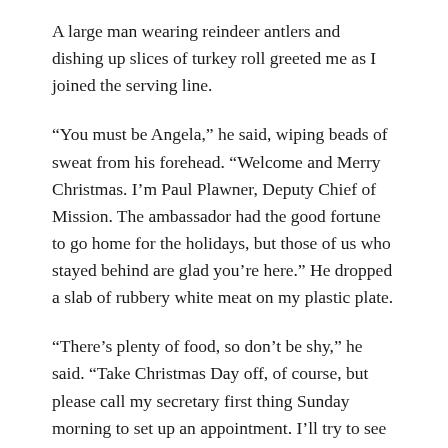A large man wearing reindeer antlers and dishing up slices of turkey roll greeted me as I joined the serving line.
“You must be Angela,” he said, wiping beads of sweat from his forehead. “Welcome and Merry Christmas. I’m Paul Plawner, Deputy Chief of Mission. The ambassador had the good fortune to go home for the holidays, but those of us who stayed behind are glad you’re here.” He dropped a slab of rubbery white meat on my plastic plate.
“There’s plenty of food, so don’t be shy,” he said. “Take Christmas Day off, of course, but please call my secretary first thing Sunday morning to set up an appointment. I’ll try to see you in the afternoon.”
Doc had explained to me during Dari language